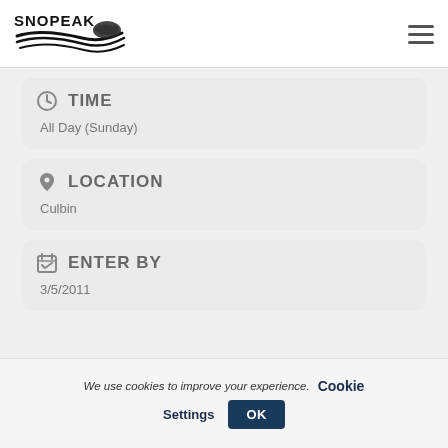SNOPEAK logo and navigation menu
TIME
All Day (Sunday)
LOCATION
Culbin
ENTER BY
3/5/2011
We use cookies to improve your experience. Cookie Settings OK